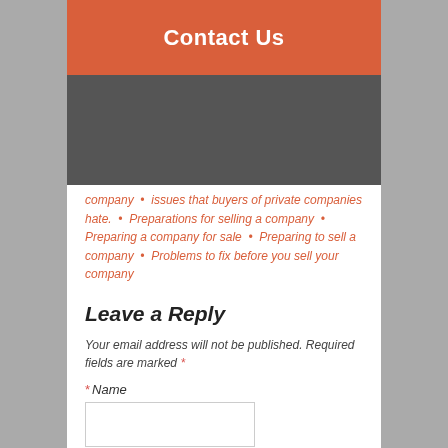Contact Us
company  •  issues that buyers of private companies hate.  •  Preparations for selling a company  •  Preparing a company for sale  •  Preparing to sell a company  •  Problems to fix before you sell your company
Leave a Reply
Your email address will not be published. Required fields are marked *
* Name
* Email